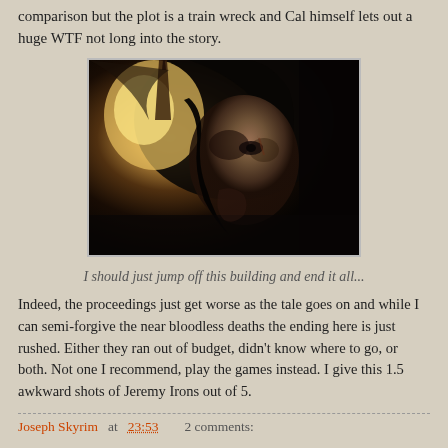comparison but the plot is a train wreck and Cal himself lets out a huge WTF not long into the story.
[Figure (photo): Dark atmospheric movie still showing a hooded figure with dramatic lighting, appearing to be from the Assassin's Creed film.]
I should just jump off this building and end it all...
Indeed, the proceedings just get worse as the tale goes on and while I can semi-forgive the near bloodless deaths the ending here is just rushed. Either they ran out of budget, didn't know where to go, or both. Not one I recommend, play the games instead. I give this 1.5 awkward shots of Jeremy Irons out of 5.
Joseph Skyrim at 23:53   2 comments: